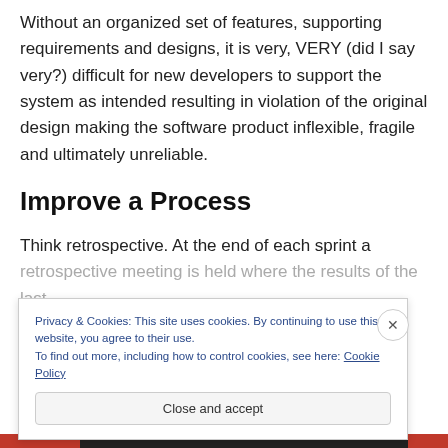Without an organized set of features, supporting requirements and designs, it is very, VERY (did I say very?) difficult for new developers to support the system as intended resulting in violation of the original design making the software product inflexible, fragile and ultimately unreliable.
Improve a Process
Think retrospective. At the end of each sprint a retrospective meeting is held where the results of the last
Privacy & Cookies: This site uses cookies. By continuing to use this website, you agree to their use.
To find out more, including how to control cookies, see here: Cookie Policy